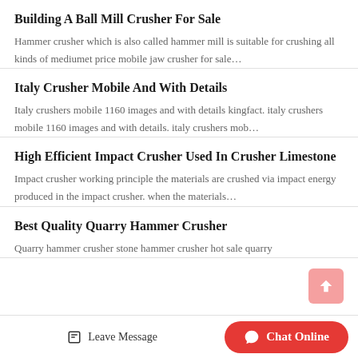Building A Ball Mill Crusher For Sale
Hammer crusher which is also called hammer mill is suitable for crushing all kinds of mediumet price mobile jaw crusher for sale…
Italy Crusher Mobile And With Details
Italy crushers mobile 1160 images and with details kingfact. italy crushers mobile 1160 images and with details. italy crushers mob…
High Efficient Impact Crusher Used In Crusher Limestone
Impact crusher working principle the materials are crushed via impact energy produced in the impact crusher. when the materials…
Best Quality Quarry Hammer Crusher
Quarry hammer crusher stone hammer crusher hot sale quarry
Leave Message   Chat Online